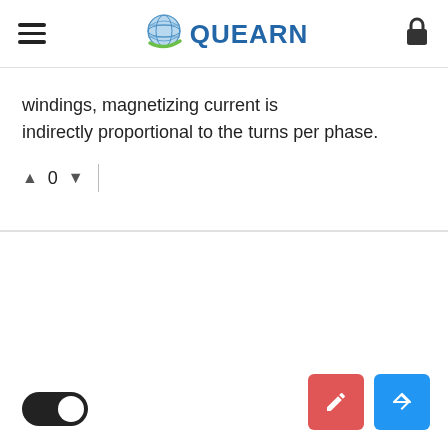QUEARN
windings, magnetizing current is indirectly proportional to the turns per phase.
▲ 0 ▼